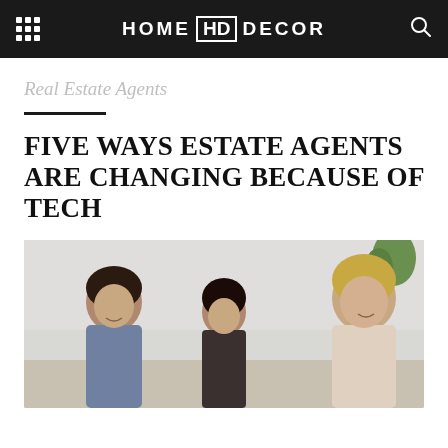HOME HD DECOR
Real Estate Agents
FIVE WAYS ESTATE AGENTS ARE CHANGING BECAUSE OF TECH
[Figure (photo): Three people looking at something together, likely a screen or document. Two people with dark hair on the left and center, one blonde woman on the right. Office or home setting with a plant visible in the background.]